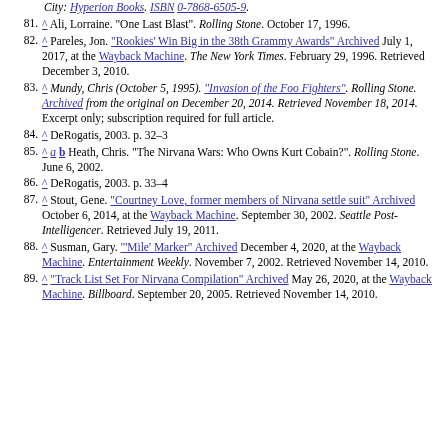(fragment) City: Hyperion Books. ISBN 0-7868-6505-9.
81. ^ Ali, Lorraine. "One Last Blast". Rolling Stone. October 17, 1996.
82. ^ Pareles, Jon. "Rookies' Win Big in the 38th Grammy Awards" Archived July 1, 2017, at the Wayback Machine. The New York Times. February 29, 1996. Retrieved December 3, 2010.
83. ^ Mundy, Chris (October 5, 1995). "Invasion of the Foo Fighters". Rolling Stone. Archived from the original on December 20, 2014. Retrieved November 18, 2014. Excerpt only; subscription required for full article.
84. ^ DeRogatis, 2003. p. 32–3
85. ^ a b Heath, Chris. "The Nirvana Wars: Who Owns Kurt Cobain?". Rolling Stone. June 6, 2002.
86. ^ DeRogatis, 2003. p. 33–4
87. ^ Stout, Gene. "Courtney Love, former members of Nirvana settle suit" Archived October 6, 2014, at the Wayback Machine. September 30, 2002. Seattle Post-Intelligencer. Retrieved July 19, 2011.
88. ^ Susman, Gary. "'Mile' Marker" Archived December 4, 2020, at the Wayback Machine. Entertainment Weekly. November 7, 2002. Retrieved November 14, 2010.
89. ^ "Track List Set For Nirvana Compilation" Archived May 26, 2020, at the Wayback Machine. Billboard. September 20, 2005. Retrieved November 14, 2010.